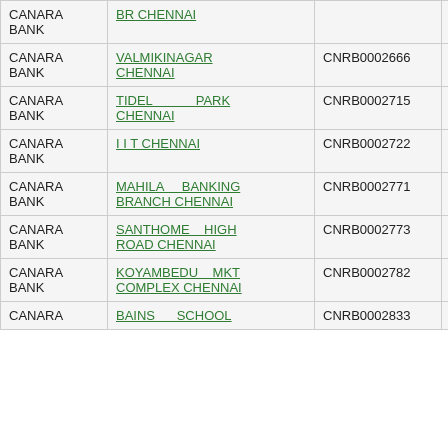| Bank | Branch | IFSC | MICR |
| --- | --- | --- | --- |
| CANARA BANK | BR CHENNAI |  |  |
| CANARA BANK | VALMIKINAGAR CHENNAI | CNRB0002666 | NA |
| CANARA BANK | TIDEL PARK CHENNAI | CNRB0002715 | NA |
| CANARA BANK | I I T CHENNAI | CNRB0002722 | NA |
| CANARA BANK | MAHILA BANKING BRANCH CHENNAI | CNRB0002771 | NA |
| CANARA BANK | SANTHOME HIGH ROAD CHENNAI | CNRB0002773 | NA |
| CANARA BANK | KOYAMBEDU MKT COMPLEX CHENNAI | CNRB0002782 | NA |
| CANARA BANK | BAINS SCHOOL CHENNAI | CNRB0002833 | NA |